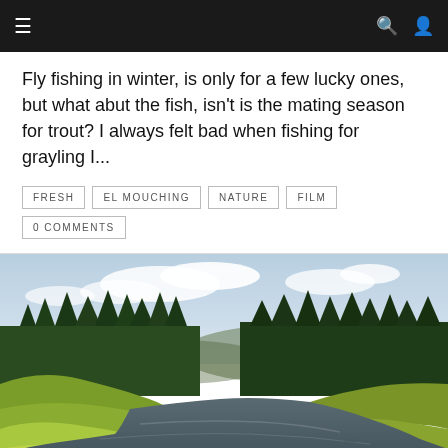Navigation bar with hamburger menu and search/user icons
Fly fishing in winter, is only for a few lucky ones, but what abut the fish, isn't is the mating season for trout? I always felt bad when fishing for grayling I...
FRESH
EL MOUCHING
NATURE
FILM
0 COMMENTS
[Figure (photo): Wide river flowing through a forest landscape with evergreen trees on both banks, green meadows, and a cloudy sky. The river curves gently with calm, dark water reflecting the surrounding scenery.]